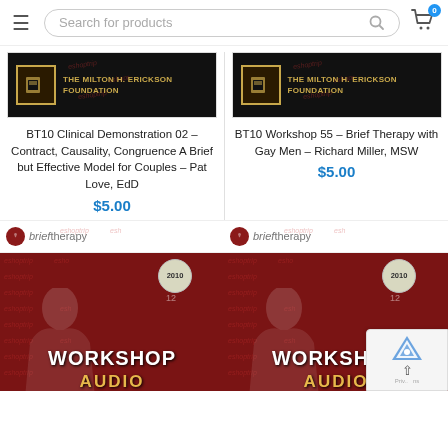Search for products
[Figure (screenshot): The Milton H. Erickson Foundation logo banner (dark background, gold text) with eshoptrip watermark — left column]
BT10 Clinical Demonstration 02 – Contract, Causality, Congruence A Brief but Effective Model for Couples – Pat Love, EdD
$5.00
[Figure (screenshot): The Milton H. Erickson Foundation logo banner (dark background, gold text) with eshoptrip watermark — right column]
BT10 Workshop 55 – Brief Therapy with Gay Men – Richard Miller, MSW
$5.00
[Figure (photo): Brief Therapy Workshop Audio 2010 product image with clock, red background, white human silhouette, watermark — left column]
[Figure (photo): Brief Therapy Workshop Audio 2010 product image with clock, red background, white human silhouette, watermark — right column]